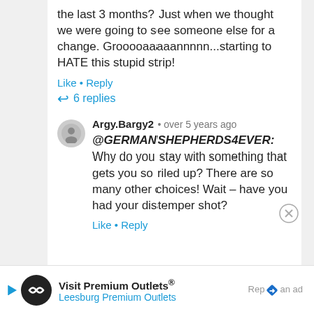the last 3 months? Just when we thought we were going to see someone else for a change. Grooooaaaaannnnn...starting to HATE this stupid strip!
Like • Reply
6 replies
Argy.Bargy2 • over 5 years ago
@GERMANSHEPHERDS4EVER: Why do you stay with something that gets you so riled up? There are so many other choices! Wait – have you had your distemper shot?
Like • Reply
Visit Premium Outlets® Leesburg Premium Outlets